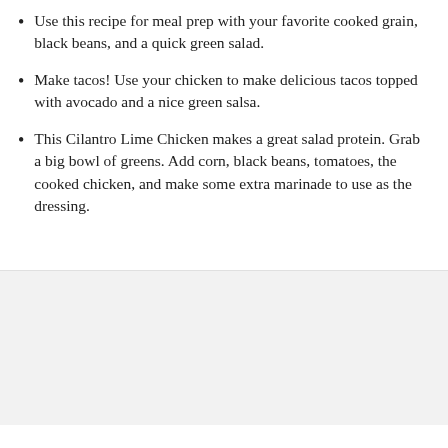Use this recipe for meal prep with your favorite cooked grain, black beans, and a quick green salad.
Make tacos! Use your chicken to make delicious tacos topped with avocado and a nice green salsa.
This Cilantro Lime Chicken makes a great salad protein. Grab a big bowl of greens. Add corn, black beans, tomatoes, the cooked chicken, and make some extra marinade to use as the dressing.